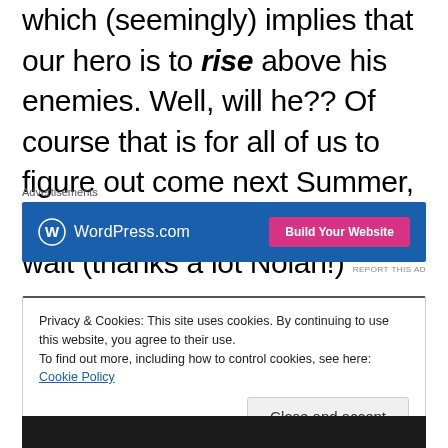That's quite a fascinating contrast to the title which (seemingly) implies that our hero is to rise above his enemies. Well, will he?? Of course that is for all of us to figure out come next Summer, a friggin' long seven-month wait (thanks a lot Nolan!)
Advertisements
[Figure (other): WordPress.com advertisement banner with blue background, WordPress logo and 'Build Your Website' pink button]
REPORT THIS AD
Privacy & Cookies: This site uses cookies. By continuing to use this website, you agree to their use.
To find out more, including how to control cookies, see here: Cookie Policy
Close and accept